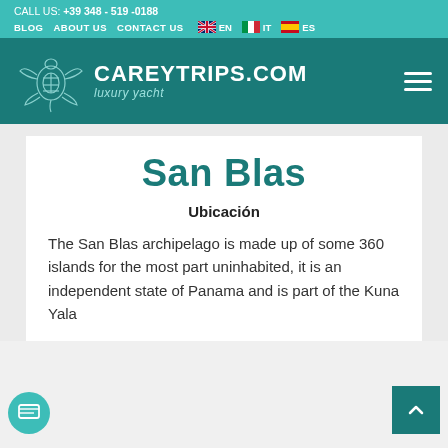CALL US: +39 348 - 519 -0188
BLOG  ABOUT US  CONTACT US  EN  IT  ES
[Figure (logo): CareyTrips.com luxury yacht logo with turtle illustration on dark teal background]
San Blas
Ubicación
The San Blas archipelago is made up of some 360 islands for the most part uninhabited, it is an independent state of Panama and is part of the Kuna Yala